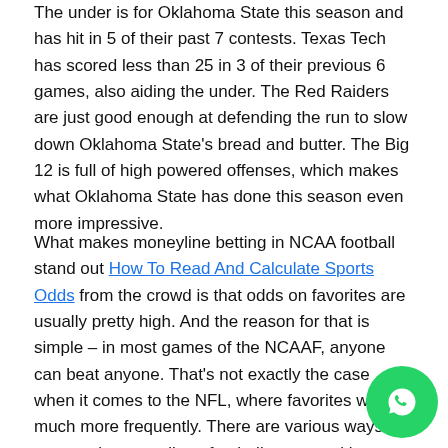The under is for Oklahoma State this season and has hit in 5 of their past 7 contests. Texas Tech has scored less than 25 in 3 of their previous 6 games, also aiding the under. The Red Raiders are just good enough at defending the run to slow down Oklahoma State's bread and butter. The Big 12 is full of high powered offenses, which makes what Oklahoma State has done this season even more impressive.
What makes moneyline betting in NCAA football stand out How To Read And Calculate Sports Odds from the crowd is that odds on favorites are usually pretty high. And the reason for that is simple – in most games of the NCAAF, anyone can beat anyone. That's not exactly the case when it comes to the NFL, where favorites win much more frequently. There are various ways you can bet on college football events, with literally dozens of different markets available at online bookmakers. Some of them may or may not work for your style of gambling, so be sure to choose wisely.